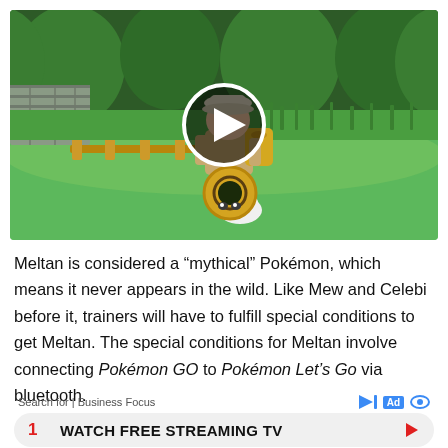[Figure (screenshot): Video thumbnail showing a Pokémon Let's Go game scene with a trainer character bending toward a Meltan Pokémon (white blob with gold nut ring) on a green field with trees and fence in background. A large white circular play button overlay is centered on the image.]
Meltan is considered a “mythical” Pokémon, which means it never appears in the wild. Like Mew and Celebi before it, trainers will have to fulfill special conditions to get Meltan. The special conditions for Meltan involve connecting Pokémon GO to Pokémon Let’s Go via bluetooth.
Search for | Business Focus
1  WATCH FREE STREAMING TV